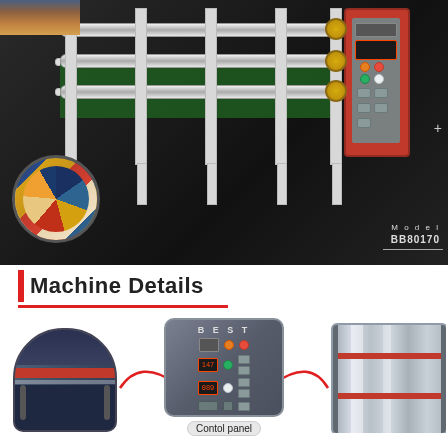[Figure (photo): Industrial roll-to-roll heat transfer printing machine (Model BB80170) with white metal frame, multiple chrome rollers, green conveyor belt, red control cabinet, and circular inset showing colorful printed fabrics. Machine is shown on a dark rocky background.]
Machine Details
[Figure (photo): Three close-up detail photos of the machine: left shows a cylindrical heating drum with red stripe, center shows the BEST-branded control panel with orange/red/green/white indicator lights, digital display showing temperature, and various buttons with red arc connector lines, right shows a close-up of a chrome roller with red accent stripes. Below center photo is the label 'Contol panel'.]
Contol panel